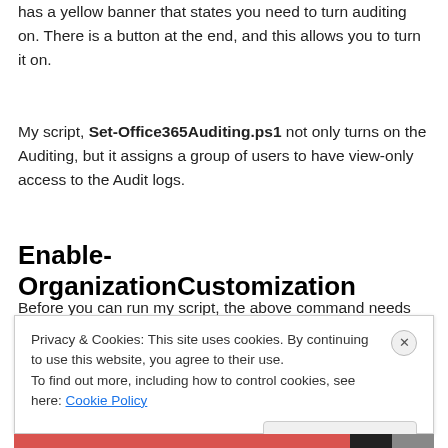has a yellow banner that states you need to turn auditing on. There is a button at the end, and this allows you to turn it on.
My script, Set-Office365Auditing.ps1 not only turns on the Auditing, but it assigns a group of users to have view-only access to the Audit logs.
Enable-OrganizationCustomization
Before you can run my script, the above command needs
Privacy & Cookies: This site uses cookies. By continuing to use this website, you agree to their use.
To find out more, including how to control cookies, see here: Cookie Policy
Close and accept